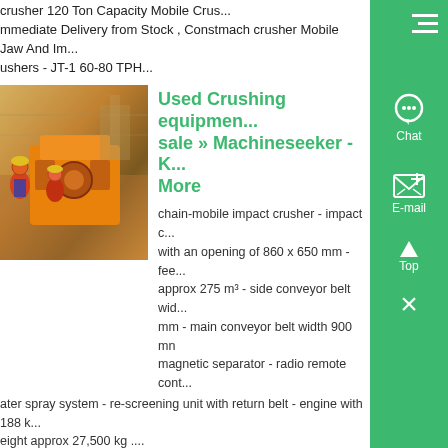crusher 120 Ton Capacity Mobile Crusher Immediate Delivery from Stock , Constmach crusher Mobile Jaw And Impact Crushers - JT-1 60-80 TPH...
[Figure (photo): Industrial crushing machine with workers in hard hats operating orange machinery in a factory setting]
Used Crushing equipment for sale » Machineseeker - Know More
chain-mobile impact crusher - impact crusher with an opening of 860 x 650 mm - feed hopper approx 275 m³ - side conveyor belt width 500 mm - main conveyor belt width 900 mm - magnetic separator - radio remote control - water spray system - re-screening unit with return belt - engine with 188 kW - weight approx 27,500 kg ....
[Figure (photo): Large blue industrial cone crusher or ball mill machine in a factory or warehouse setting]
Cone Crushers Market - Know More
Oct 27, 2021 0183 32 The cone crusher market was valued at USD 1,523 4 million in 2020, it is expected to reach a value of USD ...